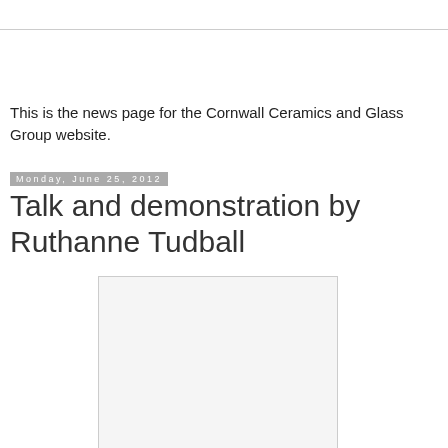This is the news page for the Cornwall Ceramics and Glass Group website.
Monday, June 25, 2012
Talk and demonstration by Ruthanne Tudball
[Figure (photo): A placeholder/blank image area with light gray background and border]